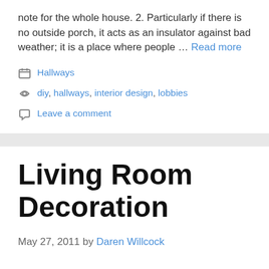note for the whole house. 2. Particularly if there is no outside porch, it acts as an insulator against bad weather; it is a place where people … Read more
Hallways
diy, hallways, interior design, lobbies
Leave a comment
Living Room Decoration
May 27, 2011 by Daren Willcock